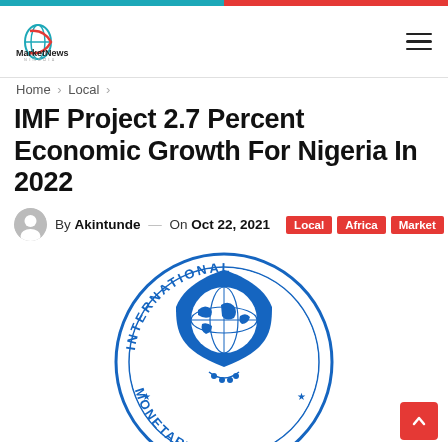MarketNews Nigeria
Home > Local >
IMF Project 2.7 Percent Economic Growth For Nigeria In 2022
By Akintunde — On Oct 22, 2021   Local  Africa  Market
[Figure (logo): International Monetary Fund (IMF) circular blue logo with globe and text 'INTERNATIONAL MONETARY FUND' around the border with stars]